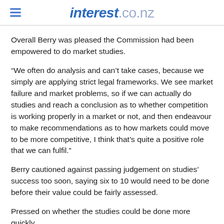interest.co.nz
Overall Berry was pleased the Commission had been empowered to do market studies.
“We often do analysis and can’t take cases, because we simply are applying strict legal frameworks. We see market failure and market problems, so if we can actually do studies and reach a conclusion as to whether competition is working properly in a market or not, and then endeavour to make recommendations as to how markets could move to be more competitive, I think that’s quite a positive role that we can fulfil.”
Berry cautioned against passing judgement on studies’ success too soon, saying six to 10 would need to be done before their value could be fairly assessed.
Pressed on whether the studies could be done more quickly